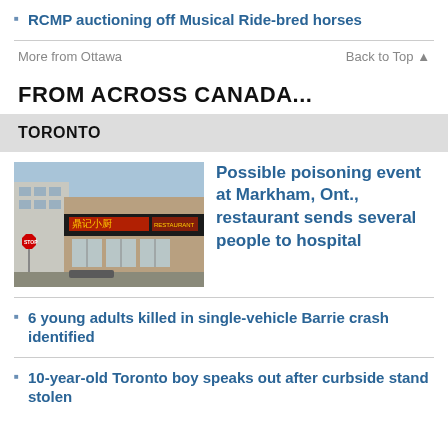RCMP auctioning off Musical Ride-bred horses
More from Ottawa    Back to Top ▲
FROM ACROSS CANADA...
TORONTO
[Figure (photo): Exterior photo of a Chinese restaurant building with red LED sign showing Chinese characters, brick facade, windows, and a stop sign visible on the left.]
Possible poisoning event at Markham, Ont., restaurant sends several people to hospital
6 young adults killed in single-vehicle Barrie crash identified
10-year-old Toronto boy speaks out after curbside stand stolen